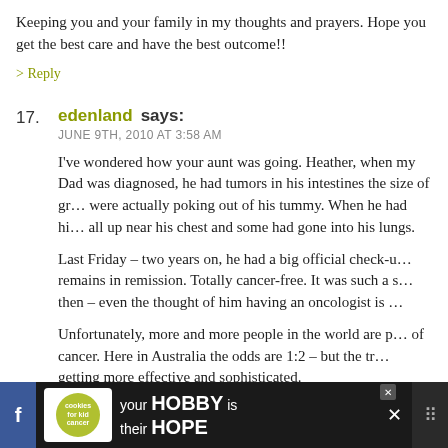Keeping you and your family in my thoughts and prayers. Hope you get the best care and have the best outcome!!
> Reply
17. edenland says: JUNE 9TH, 2010 AT 3:58 AM
I've wondered how your aunt was going. Heather, when my Dad was diagnosed, he had tumors in his intestines the size of grapefruits – they were actually poking out of his tummy. When he had his scan they were all up near his chest and some had gone into his lungs.
Last Friday – two years on, he had a big official check-up and he remains in remission. Totally cancer-free. It was such a shock back then – even the thought of him having an oncologist is …
Unfortunately, more and more people in the world are getting some form of cancer. Here in Australia the odds are 1:2 – but the treatments are getting more effective and sophisticated.
Staying positive and full of hope will help your aunt so m
[Figure (screenshot): Advertisement banner at the bottom: cookies for kid cancer logo with text 'your HOBBY is their HOPE' on dark background, with social media icons]